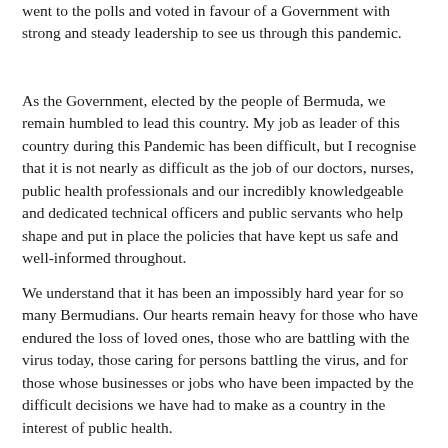went to the polls and voted in favour of a Government with strong and steady leadership to see us through this pandemic.
As the Government, elected by the people of Bermuda, we remain humbled to lead this country. My job as leader of this country during this Pandemic has been difficult, but I recognise that it is not nearly as difficult as the job of our doctors, nurses, public health professionals and our incredibly knowledgeable and dedicated technical officers and public servants who help shape and put in place the policies that have kept us safe and well-informed throughout.
We understand that it has been an impossibly hard year for so many Bermudians. Our hearts remain heavy for those who have endured the loss of loved ones, those who are battling with the virus today, those caring for persons battling the virus, and for those whose businesses or jobs who have been impacted by the difficult decisions we have had to make as a country in the interest of public health.